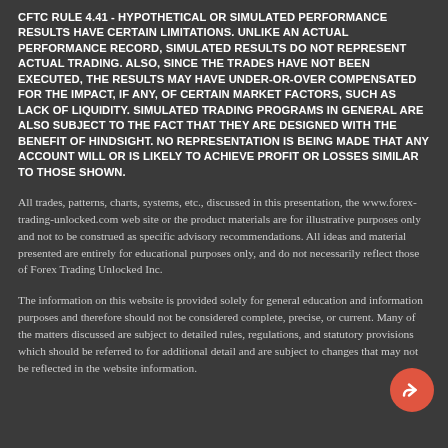CFTC RULE 4.41 - HYPOTHETICAL OR SIMULATED PERFORMANCE RESULTS HAVE CERTAIN LIMITATIONS. UNLIKE AN ACTUAL PERFORMANCE RECORD, SIMULATED RESULTS DO NOT REPRESENT ACTUAL TRADING. ALSO, SINCE THE TRADES HAVE NOT BEEN EXECUTED, THE RESULTS MAY HAVE UNDER-OR-OVER COMPENSATED FOR THE IMPACT, IF ANY, OF CERTAIN MARKET FACTORS, SUCH AS LACK OF LIQUIDITY. SIMULATED TRADING PROGRAMS IN GENERAL ARE ALSO SUBJECT TO THE FACT THAT THEY ARE DESIGNED WITH THE BENEFIT OF HINDSIGHT. NO REPRESENTATION IS BEING MADE THAT ANY ACCOUNT WILL OR IS LIKELY TO ACHIEVE PROFIT OR LOSSES SIMILAR TO THOSE SHOWN.
All trades, patterns, charts, systems, etc., discussed in this presentation, the www.forex-trading-unlocked.com web site or the product materials are for illustrative purposes only and not to be construed as specific advisory recommendations. All ideas and material presented are entirely for educational purposes only, and do not necessarily reflect those of Forex Trading Unlocked Inc.
The information on this website is provided solely for general education and information purposes and therefore should not be considered complete, precise, or current. Many of the matters discussed are subject to detailed rules, regulations, and statutory provisions which should be referred to for additional detail and are subject to changes that may not be reflected in the website information.